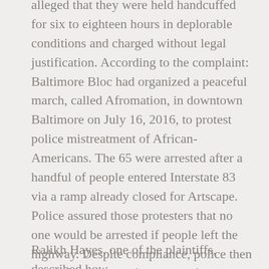alleged that they were held handcuffed for six to eighteen hours in deplorable conditions and charged without legal justification. According to the complaint: Baltimore Bloc had organized a peaceful march, called Afromation, in downtown Baltimore on July 16, 2016, to protest police mistreatment of African-Americans. The 65 were arrested after a handful of people entered Interstate 83 via a ramp already closed for Artscape. Police assured those protesters that no one would be arrested if people left the highway. Despite compliance, police then trapped everyone who was on the ramp, including bystanders (nearly half of the group) and legal observers, and began a mass arrest. Those arrested were issued citations that the State's Attorney's Office dropped a few days later. BPD denied the allegations and liability in the case.
Ralikh Hayes, one of the plaintiffs, described how